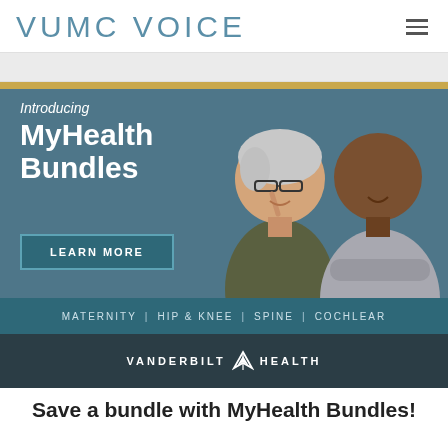VUMC VOICE
[Figure (illustration): Advertisement banner for Vanderbilt Health MyHealth Bundles. Shows two smiling elderly people (a white woman with short gray hair and glasses, and a Black man in a gray sweater) against a teal/blue-gray background. Text reads 'Introducing MyHealth Bundles' with a 'LEARN MORE' button. Bottom teal bar shows categories: MATERNITY | HIP & KNEE | SPINE | COCHLEAR. Dark footer bar shows VANDERBILT V HEALTH logo.]
Save a bundle with MyHealth Bundles!